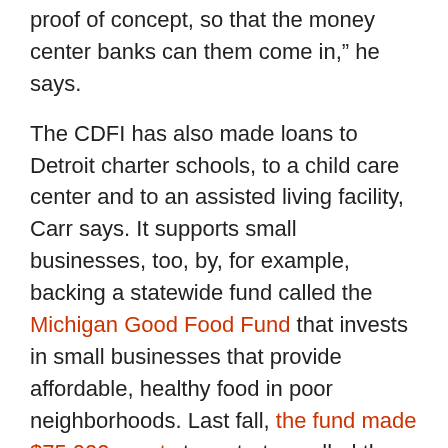proof of concept, so that the money center banks can them come in," he says.
The CDFI has also made loans to Detroit charter schools, to a child care center and to an assisted living facility, Carr says. It supports small businesses, too, by, for example, backing a statewide fund called the Michigan Good Food Fund that invests in small businesses that provide affordable, healthy food in poor neighborhoods. Last fall, the fund made $75,000 grants to a startup called the Detroit Black Community Food Security Network